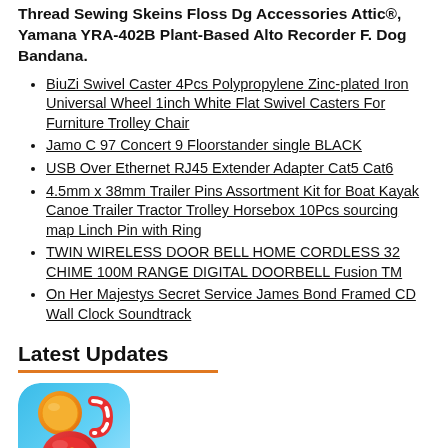Thread Sewing Skeins Floss Dg Accessories Attic®, Yamana YRA-402B Plant-Based Alto Recorder F. Dog Bandana.
BiuZi Swivel Caster 4Pcs Polypropylene Zinc-plated Iron Universal Wheel 1inch White Flat Swivel Casters For Furniture Trolley Chair
Jamo C 97 Concert 9 Floorstander single BLACK
USB Over Ethernet RJ45 Extender Adapter Cat5 Cat6
4.5mm x 38mm Trailer Pins Assortment Kit for Boat Kayak Canoe Trailer Tractor Trolley Horsebox 10Pcs sourcing map Linch Pin with Ring
TWIN WIRELESS DOOR BELL HOME CORDLESS 32 CHIME 100M RANGE DIGITAL DOORBELL Fusion TM
On Her Majestys Secret Service James Bond Framed CD Wall Clock Soundtrack
Latest Updates
[Figure (logo): Candy Crush Saga app icon with candy crush logo on blue gradient background]
Candy Crush Saga